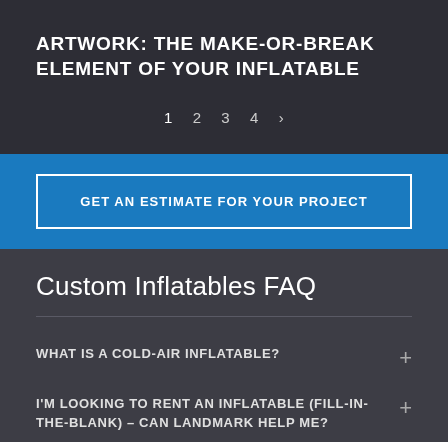ARTWORK: THE MAKE-OR-BREAK ELEMENT OF YOUR INFLATABLE
1  2  3  4  >
GET AN ESTIMATE FOR YOUR PROJECT
Custom Inflatables FAQ
WHAT IS A COLD-AIR INFLATABLE?
I'M LOOKING TO RENT AN INFLATABLE (FILL-IN-THE-BLANK) – CAN LANDMARK HELP ME?